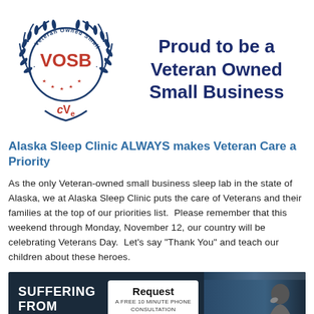[Figure (logo): VOSB (Veteran Owned Small Business) certified logo with laurel wreath and CVE text at bottom]
Proud to be a Veteran Owned Small Business
Alaska Sleep Clinic ALWAYS makes Veteran Care a Priority
As the only Veteran-owned small business sleep lab in the state of Alaska, we at Alaska Sleep Clinic puts the care of Veterans and their families at the top of our priorities list.  Please remember that this weekend through Monday, November 12, our country will be celebrating Veterans Day.  Let's say "Thank You" and teach our children about these heroes.
[Figure (photo): Dark banner image with text 'SUFFERING FROM' on left, a white 'Request a FREE 10 MINUTE PHONE CONSULTATION' box in center, and a person in distress on the right]